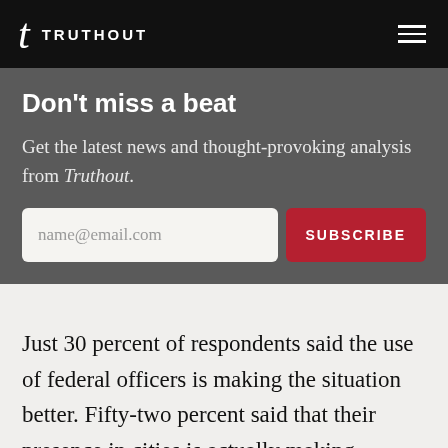TRUTHOUT
Don't miss a beat
Get the latest news and thought-provoking analysis from Truthout.
Just 30 percent of respondents said the use of federal officers is making the situation better. Fifty-two percent said that their presence in cities is actually making matters worse, while 19